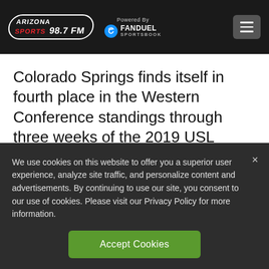ARIZONA SPORTS 98.7 FM | Powered By FANDUEL SPORTSBOOK
Colorado Springs finds itself in fourth place in the Western Conference standings through three weeks of the 2019 USL Championship season and have been able to do so because of its defense.
We use cookies on this website to offer you a superior user experience, analyze site traffic, and personalize content and advertisements. By continuing to use our site, you consent to our use of cookies. Please visit our Privacy Policy for more information.
Accept Cookies